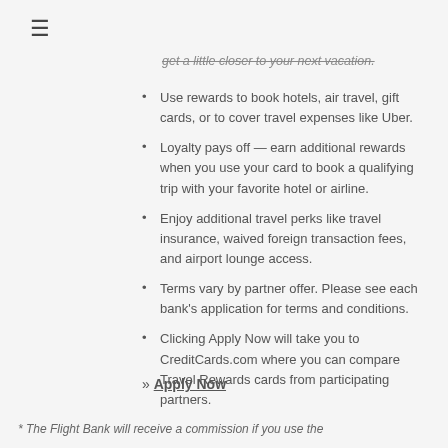≡
get a little closer to your next vacation.
Use rewards to book hotels, air travel, gift cards, or to cover travel expenses like Uber.
Loyalty pays off — earn additional rewards when you use your card to book a qualifying trip with your favorite hotel or airline.
Enjoy additional travel perks like travel insurance, waived foreign transaction fees, and airport lounge access.
Terms vary by partner offer. Please see each bank's application for terms and conditions.
Clicking Apply Now will take you to CreditCards.com where you can compare Travel Rewards cards from participating partners.
» Apply Now
* The Flight Bank will receive a commission if you use the